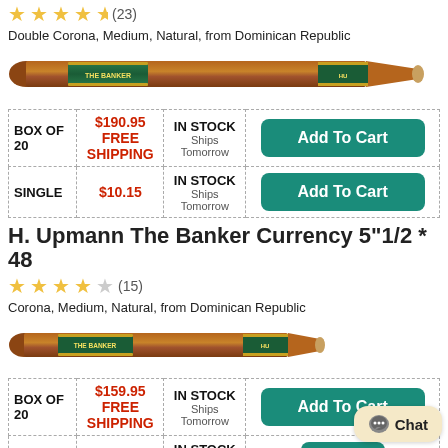★★★★½ (23)
Double Corona, Medium, Natural, from Dominican Republic
[Figure (photo): Photo of H. Upmann The Banker cigar with green and gold band, long double corona size]
| Quantity | Price | Availability | Action |
| --- | --- | --- | --- |
| BOX OF 20 | $190.95 FREE SHIPPING | IN STOCK Ships Tomorrow | Add To Cart |
| SINGLE | $10.15 | IN STOCK Ships Tomorrow | Add To Cart |
H. Upmann The Banker Currency 5"1/2 * 48
★★★★½ (15)
Corona, Medium, Natural, from Dominican Republic
[Figure (photo): Photo of H. Upmann The Banker Currency cigar with green and gold band, corona size]
| Quantity | Price | Availability | Action |
| --- | --- | --- | --- |
| BOX OF 20 | $159.95 FREE SHIPPING | IN STOCK Ships Tomorrow | Add To Cart |
| SINGLE | $8.50 | IN STOCK Ships Tomorrow | Add To Cart |